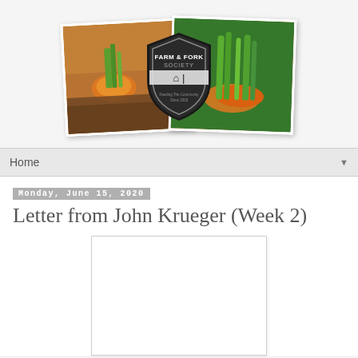[Figure (logo): Farm & Fork Society banner with two photos of carrots and a central shield logo reading 'FARM & FORK SOCIETY - Feeding The Community Since 2002']
Home
Monday, June 15, 2020
Letter from John Krueger (Week 2)
[Figure (photo): White/blank image box below the article title]